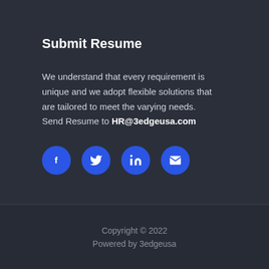Submit Resume
We understand that every requirement is unique and we adopt flexible solutions that are tailored to meet the varying needs.
Send Resume to HR@3edgeusa.com
[Figure (infographic): Four circular social media icon buttons in blue: Facebook (f), Twitter (bird), LinkedIn (in), Email (envelope)]
Copyright © 2022
Powered by 3edgeusa